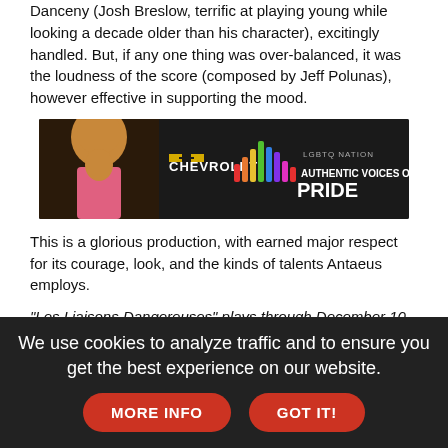Danceny (Josh Breslow, terrific at playing young while looking a decade older than his character), excitingly handled. But, if any one thing was over-balanced, it was the loudness of the score (composed by Jeff Polunas), however effective in supporting the mood.
[Figure (screenshot): Chevrolet and LGBTQ Nation — Authentic Voices of Pride advertisement banner with a person with large curly hair, Chevrolet logo, and colorful sound wave graphic.]
This is a glorious production, with earned major respect for its courage, look, and the kinds of talents Antaeus employs.
"Les Liaisons Dangereuses" plays through December 10 at Kiki and David Gindler Performing Arts Center, 110 E. Broadway, Glendale 91205. For tickets or information, call 818-506-1983 or visit www.Antaeus.org.
[Figure (screenshot): 2022 Chevrolet Equinox — Proud to Find advertisement banner with forest background.]
We use cookies to analyze traffic and to ensure you get the best experience on our website.